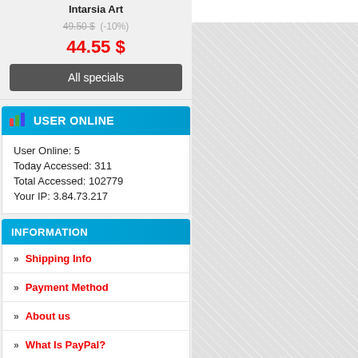Intarsia Art
49.50 $ (-10%)
44.55 $
All specials
USER ONLINE
User Online: 5
Today Accessed: 311
Total Accessed: 102779
Your IP: 3.84.73.217
INFORMATION
Shipping Info
Payment Method
About us
What Is PayPal?
Our stores